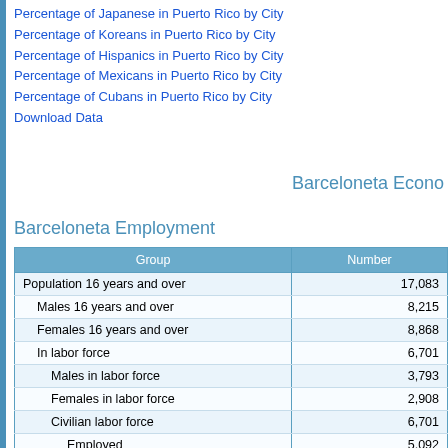Percentage of Japanese in Puerto Rico by City
Percentage of Koreans in Puerto Rico by City
Percentage of Hispanics in Puerto Rico by City
Percentage of Mexicans in Puerto Rico by City
Percentage of Cubans in Puerto Rico by City
Download Data
Barceloneta Econo
Barceloneta Employment
| Group | Number |
| --- | --- |
| Population 16 years and over | 17,083 |
| Males 16 years and over | 8,215 |
| Females 16 years and over | 8,868 |
| In labor force | 6,701 |
| Males in labor force | 3,793 |
| Females in labor force | 2,908 |
| Civilian labor force | 6,701 |
| Employed | 5,092 |
| Unemployed | 1,609 |
| Unemployment level | - |
| Armed Forces | 0 |
| Not in labor force | 10,382 |